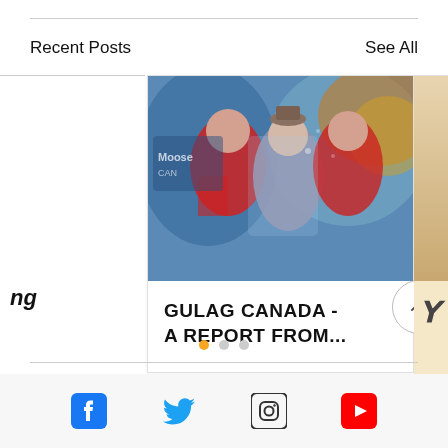Recent Posts
See All
[Figure (photo): Photo of people in Canada Day costumes with red jackets and maple leaf flags, colorful background]
GULAG CANADA - A REPORT FROM...
[Figure (illustration): Partial view of a card with cursive/italic text on a beige background]
[Figure (infographic): Carousel pagination dots: one orange, two grey]
Social media icons: Facebook, Twitter, Instagram, YouTube